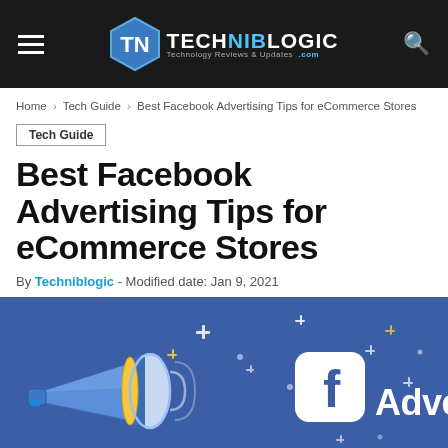TECHNIBLOGIC Technology Reviews & Updates .com
Home › Tech Guide › Best Facebook Advertising Tips for eCommerce Stores
Tech Guide
Best Facebook Advertising Tips for eCommerce Stores
By Techniblogic - Modified date: Jan 9, 2021
[Figure (illustration): Hero illustration with a megaphone on a blue Facebook-themed background with the Facebook logo and text 'Advertising' and decorative sparkle/star shapes]